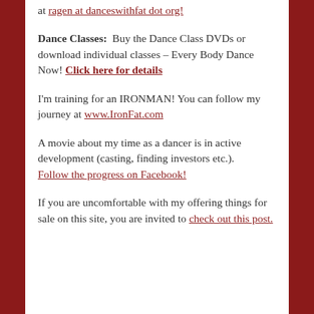at ragen at danceswithfat dot org!
Dance Classes: Buy the Dance Class DVDs or download individual classes – Every Body Dance Now! Click here for details
I'm training for an IRONMAN! You can follow my journey at www.IronFat.com
A movie about my time as a dancer is in active development (casting, finding investors etc.). Follow the progress on Facebook!
If you are uncomfortable with my offering things for sale on this site, you are invited to check out this post.